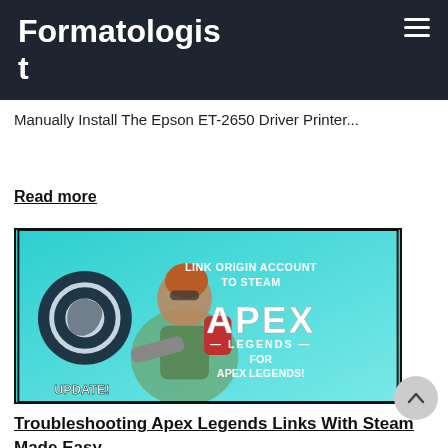Formatologist
Manually Install The Epson ET-2650 Driver Printer...
Read more
[Figure (illustration): Apex Legends promotional image showing a character with Steam logo and text: LINK ORIGIN ACCOUNT TO STEAM / APEX LEGENDS / FOR APEX LEGENDS! / UPDATE!]
Troubleshooting Apex Legends Links With Steam Made Easy